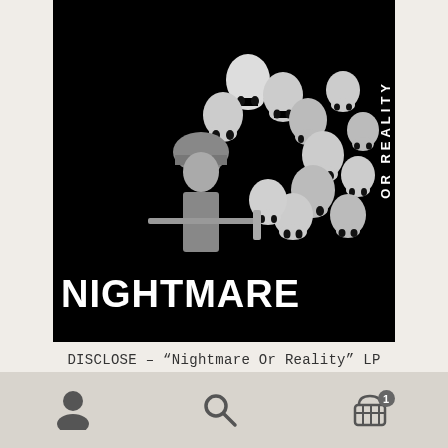[Figure (photo): Black and white album cover for DISCLOSE - Nightmare Or Reality LP. Shows a soldier with a rifle surrounded by skulls on a black background. Text 'NIGHTMARE' in large bold white letters at bottom, 'OR REALITY' written vertically on the right side in white bold letters.]
DISCLOSE – “Nightmare Or Reality” LP
£14.00
Add to basket